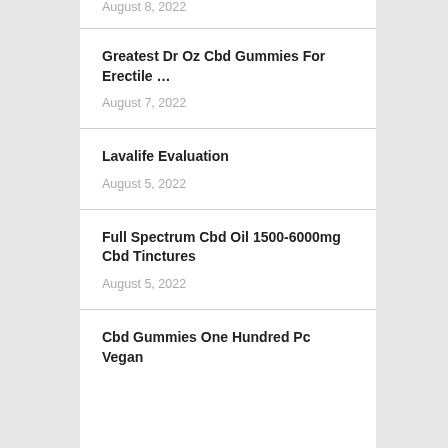August 8, 2022
Greatest Dr Oz Cbd Gummies For Erectile …
August 7, 2022
Lavalife Evaluation
August 5, 2022
Full Spectrum Cbd Oil 1500-6000mg Cbd Tinctures
August 5, 2022
Cbd Gummies One Hundred Pc Vegan